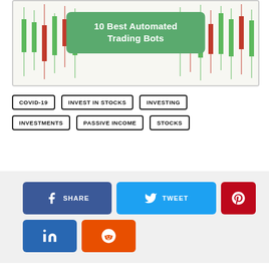[Figure (illustration): Banner image with candlestick chart background and green rounded rectangle overlay with text '10 Best Automated Trading Bots']
10 Best Automated Trading Bots
COVID-19
INVEST IN STOCKS
INVESTING
INVESTMENTS
PASSIVE INCOME
STOCKS
[Figure (infographic): Social sharing buttons: Facebook SHARE, Twitter TWEET, Pinterest, LinkedIn, Reddit]